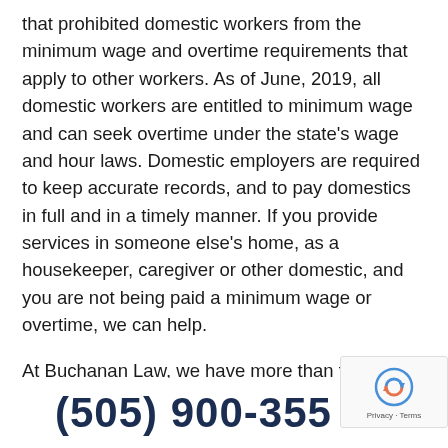that prohibited domestic workers from the minimum wage and overtime requirements that apply to other workers. As of June, 2019, all domestic workers are entitled to minimum wage and can seek overtime under the state's wage and hour laws. Domestic employers are required to keep accurate records, and to pay domestics in full and in a timely manner. If you provide services in someone else's home, as a housekeeper, caregiver or other domestic, and you are not being paid a minimum wage or overtime, we can help.
At Buchanan Law, we have more than two
(505) 900-355